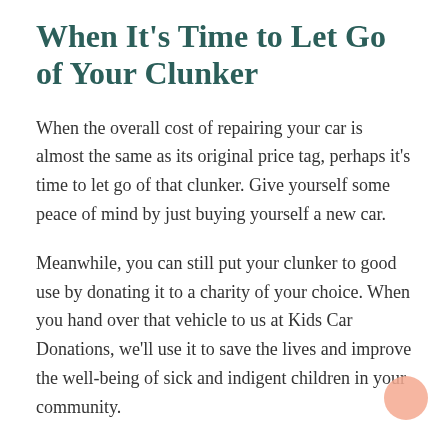When It's Time to Let Go of Your Clunker
When the overall cost of repairing your car is almost the same as its original price tag, perhaps it's time to let go of that clunker. Give yourself some peace of mind by just buying yourself a new car.
Meanwhile, you can still put your clunker to good use by donating it to a charity of your choice. When you hand over that vehicle to us at Kids Car Donations, we'll use it to save the lives and improve the well-being of sick and indigent children in your community.
We'll auction off your donated vehicle and use the proceeds to support the child health care packages being delivered by our charity partners. These IRS-